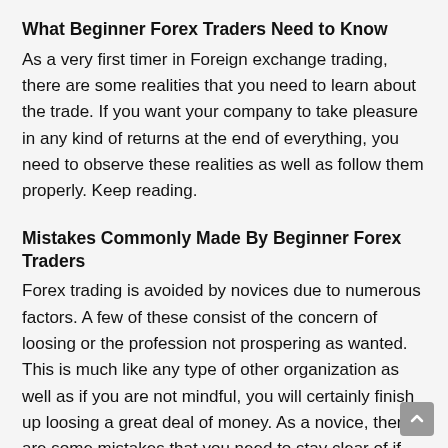What Beginner Forex Traders Need to Know
As a very first timer in Foreign exchange trading, there are some realities that you need to learn about the trade. If you want your company to take pleasure in any kind of returns at the end of everything, you need to observe these realities as well as follow them properly. Keep reading.
Mistakes Commonly Made By Beginner Forex Traders
Forex trading is avoided by novices due to numerous factors. A few of these consist of the concern of loosing or the profession not prospering as wanted. This is much like any type of other organization as well as if you are not mindful, you will certainly finish up loosing a great deal of money. As a novice, there are some mistakes that you need to stay clear of if you want to achieve success in the trade.